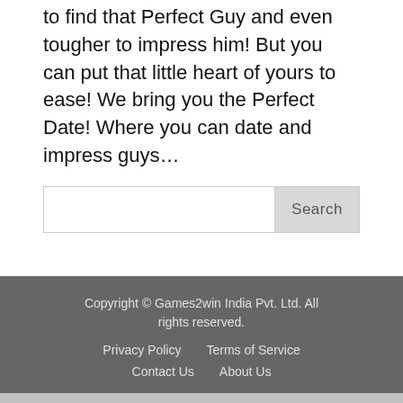to find that Perfect Guy and even tougher to impress him! But you can put that little heart of yours to ease! We bring you the Perfect Date! Where you can date and impress guys…
Search
Copyright © Games2win India Pvt. Ltd. All rights reserved.
Privacy Policy   Terms of Service
Contact Us   About Us